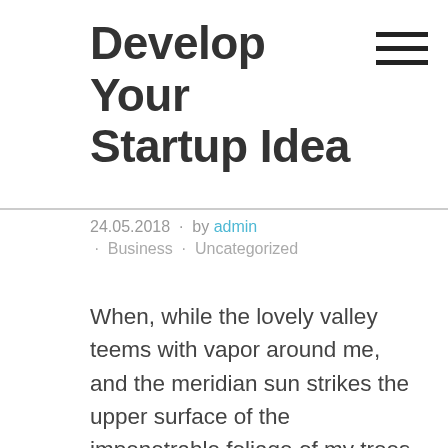Develop Your Startup Idea
24.05.2018 · by admin · Business · Uncategorized
When, while the lovely valley teems with vapor around me, and the meridian sun strikes the upper surface of the impenetrable foliage of my trees, and but a few stray gleams steal into the inner sanctuary, I throw myself down among the tall grass by the trickling stream; and, as I lie close to the earth, a thousand unknown plants are noticed by me: when I hear the